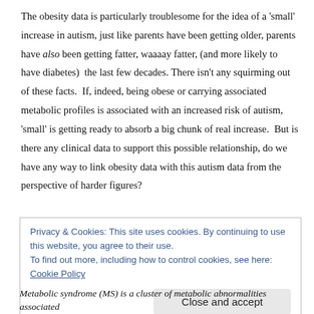The obesity data is particularly troublesome for the idea of a 'small' increase in autism, just like parents have been getting older, parents have also been getting fatter, waaaay fatter, (and more likely to have diabetes)  the last few decades.  There isn't any squirming out of these facts.  If, indeed, being obese or carrying associated metabolic profiles is associated with an increased risk of autism, 'small' is getting ready to absorb a big chunk of real increase.  But is there any clinical data to support this possible relationship, do we have any way to link obesity data with this autism data from the perspective of harder figures?

It further turns out, there are some very simple to navigate logical jumps between the above studies.  Remembering that our clinical measurements
Privacy & Cookies: This site uses cookies. By continuing to use this website, you agree to their use.
To find out more, including how to control cookies, see here: Cookie Policy
Metabolic syndrome (MS) is a cluster of metabolic abnormalities associated